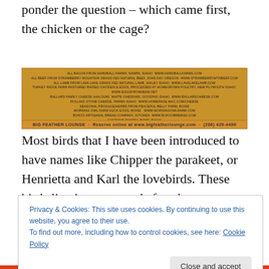ponder the question – which came first, the chicken or the cage?
[Figure (other): Restaurant advertisement on yellow/golden background listing local sourcing partners: All Bacon from Hardball Farms, Nampa, Idaho; All Beef from Strawberry Mountain Grass Fed Natural Beef, John Day Oregon; All Lamb from Lava Lake Grass Fed Natural Lamb, Hailey Idaho; Turkey Ridge Farm Pastured Raised Chicken & Eggs, Processed at Homegrown Poultry, New Plymouth Idaho; Ballard Family Cheese (Haloumi, White Cheddar), Gooding Idaho; Rolling Stone Cheese, Parma Idaho; Seasonal Produce/Herbs from Peaceful Belly Farm, Boise; Morning Owl Farm Duck Eggs, Boise; Bokoo Artisanal Bread Company, Kitchen; Gaston's Pantry, Boise Idaho. Footer: Big Feather Lounge · Reserve online at www.bigfeatherlounge.com · (208) 429-4490]
Most birds that I have been introduced to have names like Chipper the parakeet, or Henrietta and Karl the lovebirds. These birds live in cages, and after the newness wears off, seem to annoy their owners who have to selflessly feed
Privacy & Cookies: This site uses cookies. By continuing to use this website, you agree to their use.
To find out more, including how to control cookies, see here: Cookie Policy